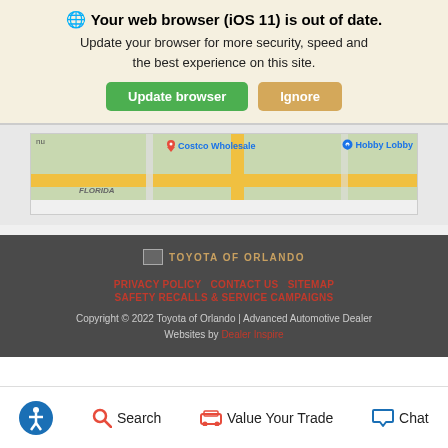🌐 Your web browser (iOS 11) is out of date. Update your browser for more security, speed and the best experience on this site.
Update browser   Ignore
[Figure (map): Google Maps snippet showing Costco Wholesale and Hobby Lobby locations in Florida area]
[Figure (logo): Toyota of Orlando logo placeholder]
PRIVACY POLICY   CONTACT US   SITEMAP   SAFETY RECALLS & SERVICE CAMPAIGNS
Copyright © 2022 Toyota of Orlando | Advanced Automotive Dealer Websites by Dealer Inspire
Search   Value Your Trade   Chat